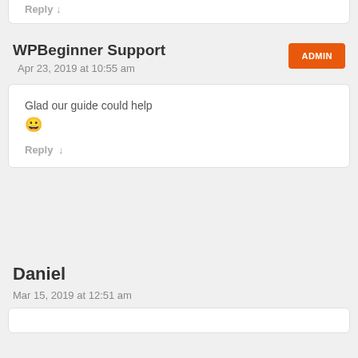Reply ↓
WPBeginner Support
Apr 23, 2019 at 10:55 am
ADMIN
Glad our guide could help 😀
Reply ↓
Daniel
Mar 15, 2019 at 12:51 am